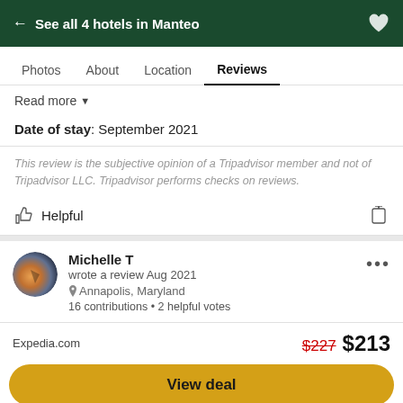← See all 4 hotels in Manteo
Photos  About  Location  Reviews
Read more ▼
Date of stay: September 2021
This review is the subjective opinion of a Tripadvisor member and not of Tripadvisor LLC. Tripadvisor performs checks on reviews.
Helpful
Michelle T
wrote a review Aug 2021
Annapolis, Maryland
16 contributions • 2 helpful votes
Expedia.com  $227  $213
View deal